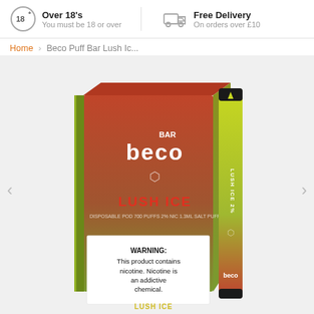Over 18's — You must be 18 or over | Free Delivery — On orders over £10
Home › Beco Puff Bar Lush Ic...
[Figure (photo): Beco Bar Lush Ice disposable vape product box and device. The box has a red-to-green gradient, showing the 'beco BAR' logo and 'LUSH ICE' text in red. A warning label reads: WARNING: This product contains nicotine. Nicotine is an addictive chemical. A slim vape device with a yellow-green to red gradient is shown beside the box.]